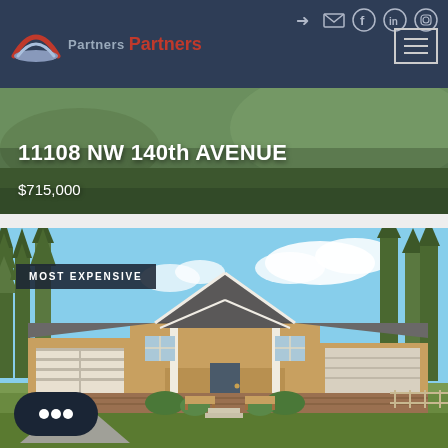[Figure (screenshot): Real estate website header with dark navy background, logo showing 'Partners' in red with a house arc icon, navigation icons (login, email, Facebook, LinkedIn, Instagram), and hamburger menu button]
[Figure (photo): Hero banner showing green lawn/landscape with white text overlay displaying property address and price]
11108 NW 140th AVENUE
$715,000
[Figure (photo): Photo of a single-story house with tan/beige siding, gray roof, brick accents, garage door on left, front porch with benches, surrounded by tall pine trees under blue sky with white clouds. Badge reads 'MOST EXPENSIVE' in upper left.]